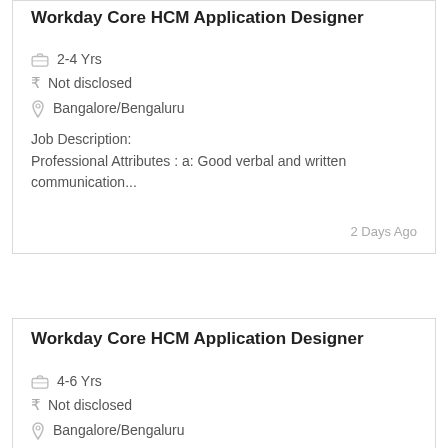Workday Core HCM Application Designer
2-4 Yrs
₹ Not disclosed
Bangalore/Bengaluru
Job Description:
Professional Attributes : a: Good verbal and written communication...
2 Days Ago
Workday Core HCM Application Designer
4-6 Yrs
₹ Not disclosed
Bangalore/Bengaluru
Job Description: